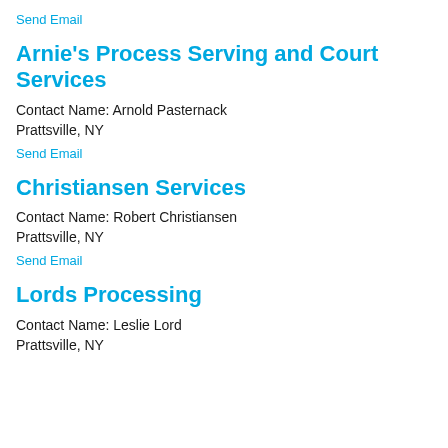Send Email
Arnie's Process Serving and Court Services
Contact Name: Arnold Pasternack
Prattsville, NY
Send Email
Christiansen Services
Contact Name: Robert Christiansen
Prattsville, NY
Send Email
Lords Processing
Contact Name: Leslie Lord
Prattsville, NY